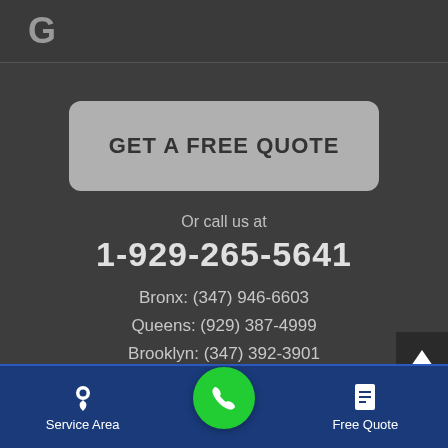G
GET A FREE QUOTE
Or call us at
1-929-265-5641
Bronx: (347) 946-6603
Queens: (929) 387-4999
Brooklyn: (347) 392-3901
Service Area | [call button] | Free Quote